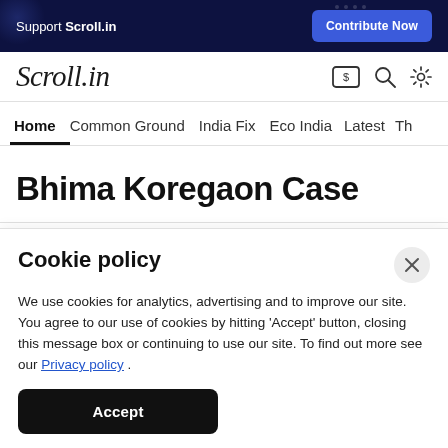Support Scroll.in | Contribute Now
[Figure (logo): Scroll.in logo in italic serif font with icons for subscribe, search, and settings]
Home | Common Ground | India Fix | Eco India | Latest | Th
Bhima Koregaon Case
Cookie policy
We use cookies for analytics, advertising and to improve our site. You agree to our use of cookies by hitting 'Accept' button, closing this message box or continuing to use our site. To find out more see our Privacy policy .
Accept